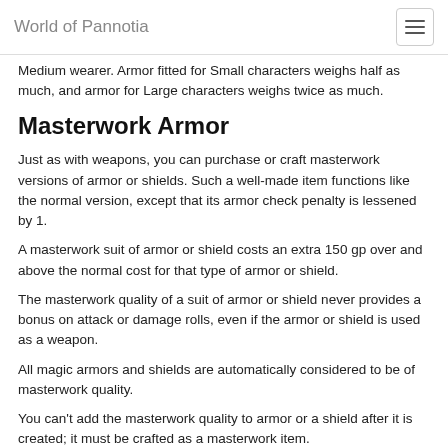World of Pannotia
Medium wearer. Armor fitted for Small characters weighs half as much, and armor for Large characters weighs twice as much.
Masterwork Armor
Just as with weapons, you can purchase or craft masterwork versions of armor or shields. Such a well-made item functions like the normal version, except that its armor check penalty is lessened by 1.
A masterwork suit of armor or shield costs an extra 150 gp over and above the normal cost for that type of armor or shield.
The masterwork quality of a suit of armor or shield never provides a bonus on attack or damage rolls, even if the armor or shield is used as a weapon.
All magic armors and shields are automatically considered to be of masterwork quality.
You can't add the masterwork quality to armor or a shield after it is created; it must be crafted as a masterwork item.